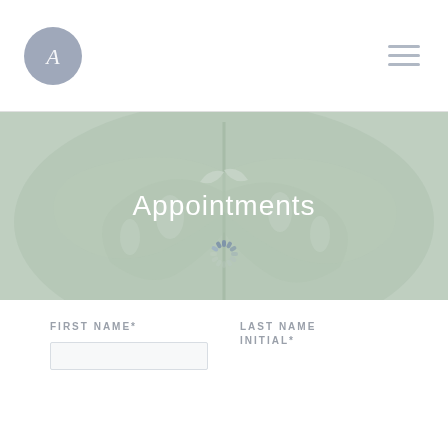[Figure (logo): Circular grey logo with stylized cursive letter A]
[Figure (illustration): Hamburger menu icon with three horizontal grey lines]
[Figure (photo): Hero banner with muted green monstera leaf background and loading spinner]
Appointments
FIRST NAME*
LAST NAME INITIAL*